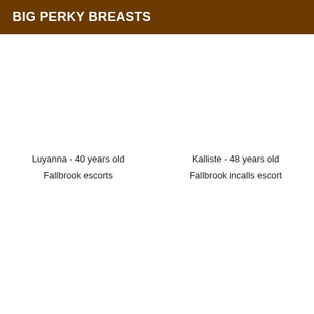BIG PERKY BREASTS
Luyanna - 40 years old
Fallbrook escorts
Kalliste - 48 years old
Fallbrook incalls escort
Halimatou - 31 years old
Urbaine - 46 years old